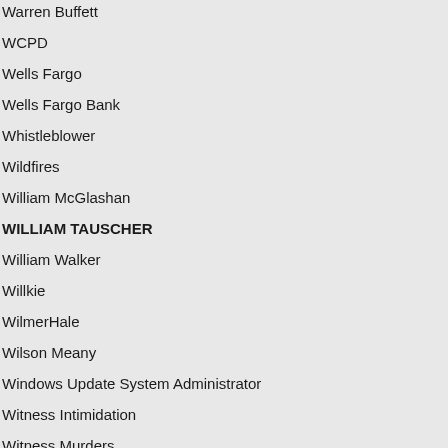Warren Buffett
WCPD
Wells Fargo
Wells Fargo Bank
Whistleblower
Wildfires
William McGlashan
WILLIAM TAUSCHER
William Walker
Willkie
WilmerHale
Wilson Meany
Windows Update System Administrator
Witness Intimidation
Witness Murders